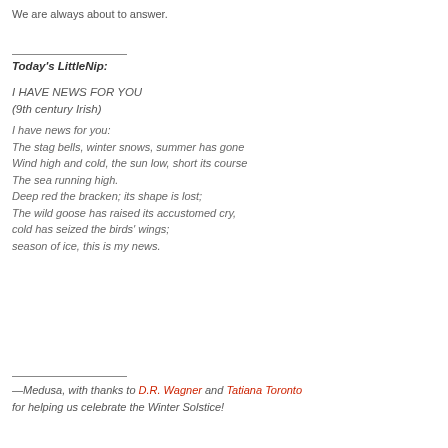We are always about to answer.
Today's LittleNip:
I HAVE NEWS FOR YOU
(9th century Irish)
I have news for you:
The stag bells, winter snows, summer has gone
Wind high and cold, the sun low, short its course
The sea running high.
Deep red the bracken; its shape is lost;
The wild goose has raised its accustomed cry,
cold has seized the birds' wings;
season of ice, this is my news.
—Medusa, with thanks to D.R. Wagner and Tatiana Toronto for helping us celebrate the Winter Solstice!